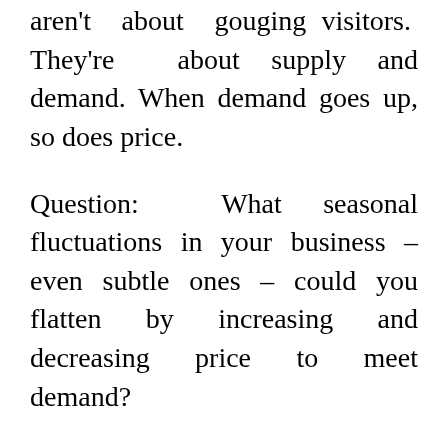aren't about gouging visitors. They're about supply and demand. When demand goes up, so does price.
Question: What seasonal fluctuations in your business – even subtle ones – could you flatten by increasing and decreasing price to meet demand?
2. Offer volume discounts